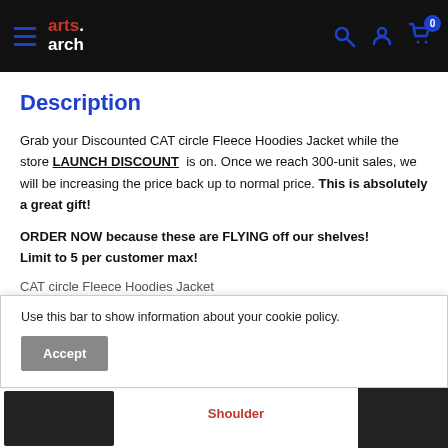arts.arch — navigation bar with hamburger menu, logo, search, account, and cart icons
Description
Grab your Discounted CAT circle Fleece Hoodies Jacket while the store LAUNCH DISCOUNT  is on. Once we reach 300-unit sales, we will be increasing the price back up to normal price. This is absolutely a great gift!
ORDER NOW because these are FLYING off our shelves! Limit to 5 per customer max!
CAT circle Fleece Hoodies Jacket
Use this bar to show information about your cookie policy.
[Figure (photo): Bottom strip showing product images with Shoulder label]